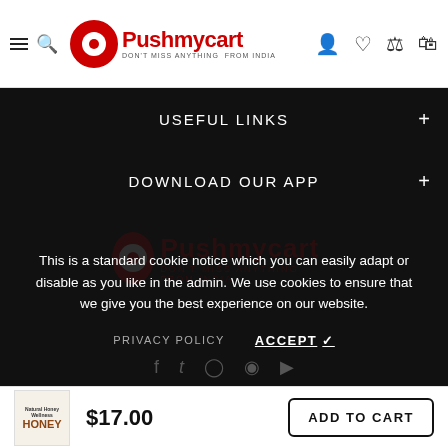Pushmycart — DON'T MISS ANYTHING FROM INDIA
USEFUL LINKS +
DOWNLOAD OUR APP +
This is a standard cookie notice which you can easily adapt or disable as you like in the admin. We use cookies to ensure that we give you the best experience on our website.
PRIVACY POLICY   ACCEPT ✓
$17.00   ADD TO CART